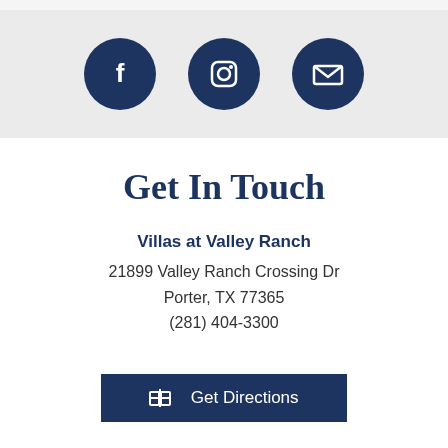[Figure (infographic): Three dark navy circular social media icons: Facebook (f), Instagram (camera), and Email (envelope) on a light gray background]
Get In Touch
Villas at Valley Ranch
21899 Valley Ranch Crossing Dr
Porter, TX 77365
(281) 404-3300
Get Directions